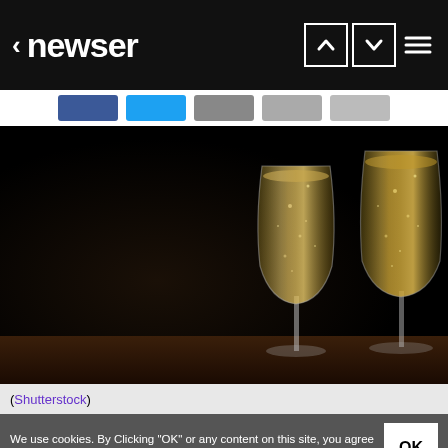< newser
[Figure (photo): Two champagne flute glasses filled with sparkling champagne against a dark black background, resting on a wooden surface.]
(Shutterstock)
We use cookies. By Clicking "OK" or any content on this site, you agree to allow cookies to be placed. Read more in our privacy policy.